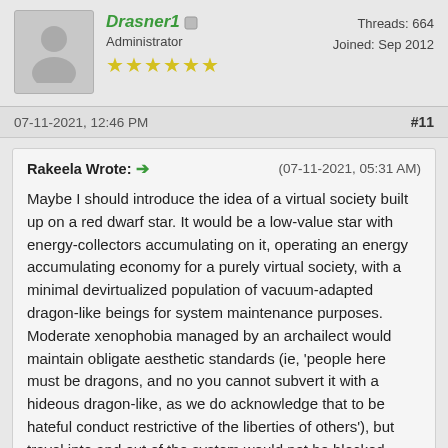[Figure (illustration): Forum post header showing user avatar (silhouette person icon), username Drasner1 in italic green bold, role Administrator, six gold stars, and stats: Threads: 664, Joined: Sep 2012]
07-11-2021, 12:46 PM
#11
Rakeela Wrote: → (07-11-2021, 05:31 AM)

Maybe I should introduce the idea of a virtual society built up on a red dwarf star.  It would be a low-value star with energy-collectors accumulating on it, operating an energy accumulating economy for a purely virtual society, with a minimal devirtualized population of vacuum-adapted dragon-like beings for system maintenance purposes.  Moderate xenophobia managed by an archailect would maintain obligate aesthetic standards (ie, 'people here must be dragons, and no you cannot subvert it with a hideous dragon-like, as we do acknowledge that to be hateful conduct restrictive of the liberties of others'), but travel into and out of the system would not be blocked (immigration and emigration would be permitted).  Travel assistance would be available for